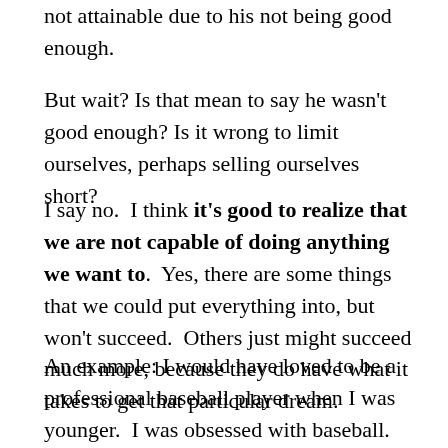not attainable due to his not being good enough.
But wait? Is that mean to say he wasn't good enough? Is it wrong to limit ourselves, perhaps selling ourselves short?
I say no. I think it's good to realize that we are not capable of doing anything we want to. Yes, there are some things that we could put everything into, but won't succeed. Others just might succeed much more, because they do have what it takes to get that particular dream.
An example: I would have loved to be a professional baseball player when I was younger. I was obsessed with baseball. However, I got cut in tryouts my junior year of high school. I could hit, had very good